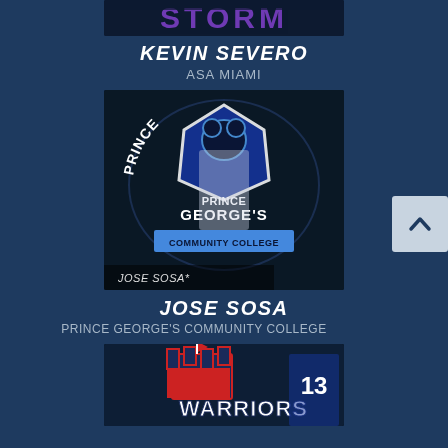[Figure (photo): Top cropped photo showing partial word STORM text graphic against dark background]
KEVIN SEVERO
ASA MIAMI
[Figure (photo): Jose Sosa in baseball catcher gear with Prince George's Community College logo overlay and 'JOSE SOSA' text at bottom]
JOSE SOSA
PRINCE GEORGE'S COMMUNITY COLLEGE
[Figure (photo): Partial photo showing Warriors logo and player wearing jersey number 13]
back to top arrow button